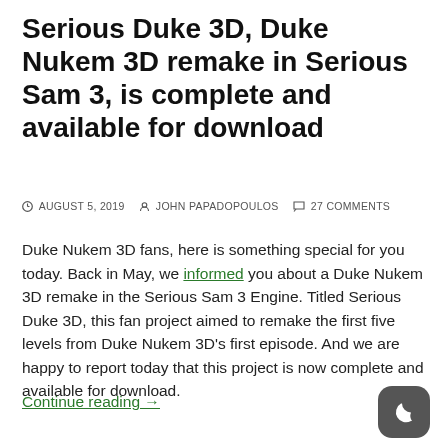Serious Duke 3D, Duke Nukem 3D remake in Serious Sam 3, is complete and available for download
AUGUST 5, 2019  JOHN PAPADOPOULOS  27 COMMENTS
Duke Nukem 3D fans, here is something special for you today. Back in May, we informed you about a Duke Nukem 3D remake in the Serious Sam 3 Engine. Titled Serious Duke 3D, this fan project aimed to remake the first five levels from Duke Nukem 3D's first episode. And we are happy to report today that this project is now complete and available for download.
Continue reading →
[Figure (other): Dark mode toggle button icon — rounded square with a crescent moon symbol]